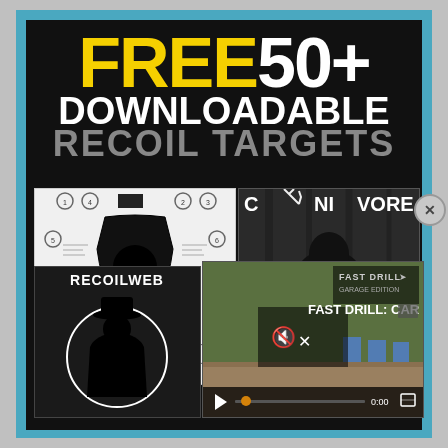[Figure (infographic): Promotional banner advertisement for 'FREE 50+ Downloadable Recoil Targets' with a black background and teal border. Shows three shooting target images and a video thumbnail overlay. The targets include: a white paper shooting target with circles and silhouette cutout, a Carnivore deer hunting target in black/white, and a RECOILWEB silhouette of a fedora-hatted man. A video thumbnail shows 'FAST DRILL: CAR...' with playback controls. An X close button is visible.]